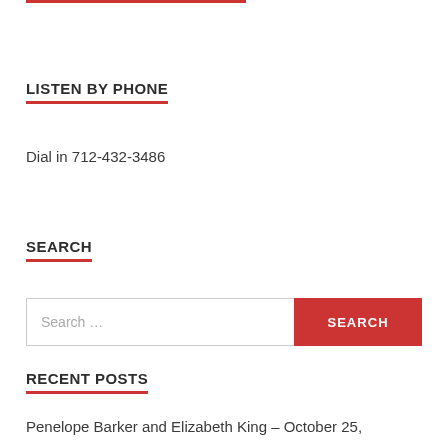LISTEN BY PHONE
Dial in 712-432-3486
SEARCH
RECENT POSTS
Penelope Barker and Elizabeth King – October 25,